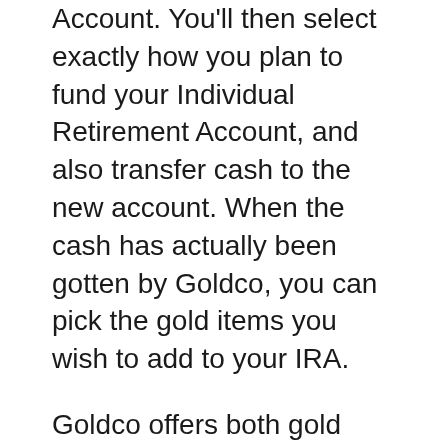Account. You'll then select exactly how you plan to fund your Individual Retirement Account, and also transfer cash to the new account. When the cash has actually been gotten by Goldco, you can pick the gold items you wish to add to your IRA.
Goldco offers both gold coins as well as bars for Gold IRAs. Every one of these coins and bars meet the IRS needs of being 99.5% pure and also can be held in Individual Retirement Account accounts.
Since silver is less expensive than gold, you'll be able to include even more to your Valuable Metals IRA for the same price you would certainly pay to acquire just a couple of gold coins or bars.